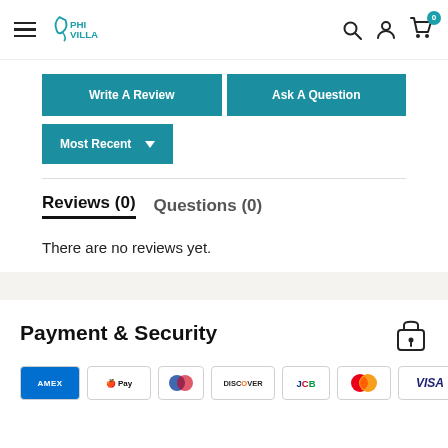PHI VILLA navigation bar with logo, search, account, and cart icons
Write A Review
Ask A Question
Most Recent
Reviews (0)   Questions (0)
There are no reviews yet.
Payment & Security
[Figure (infographic): Payment method icons: AMEX, Apple Pay, Diners Club, Discover, JCB, Mastercard, Visa]